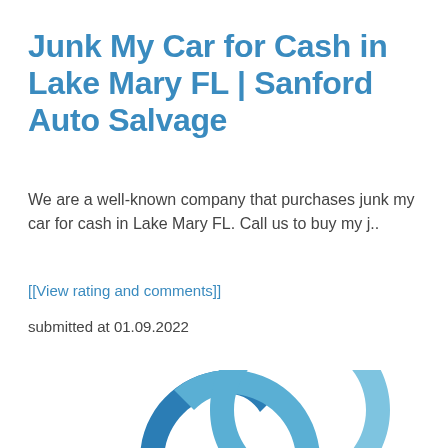Junk My Car for Cash in Lake Mary FL | Sanford Auto Salvage
We are a well-known company that purchases junk my car for cash in Lake Mary FL. Call us to buy my j..
[[View rating and comments]]
submitted at 01.09.2022
[Figure (logo): Chain link icon logo in blue tones for Sanford Auto Salvage]